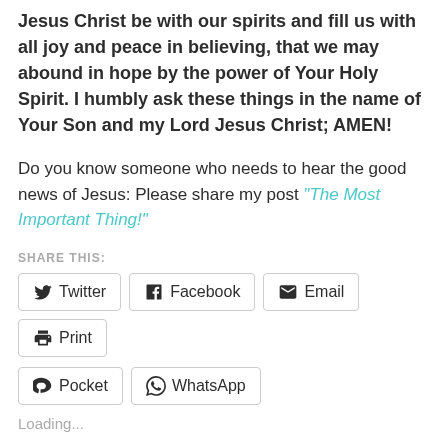Jesus Christ be with our spirits and fill us with all joy and peace in believing, that we may abound in hope by the power of Your Holy Spirit. I humbly ask these things in the name of Your Son and my Lord Jesus Christ; AMEN!
Do you know someone who needs to hear the good news of Jesus: Please share my post "The Most Important Thing!"
SHARE THIS:
[Figure (screenshot): Social share buttons: Twitter, Facebook, Email, Print, Pocket, WhatsApp]
Loading...